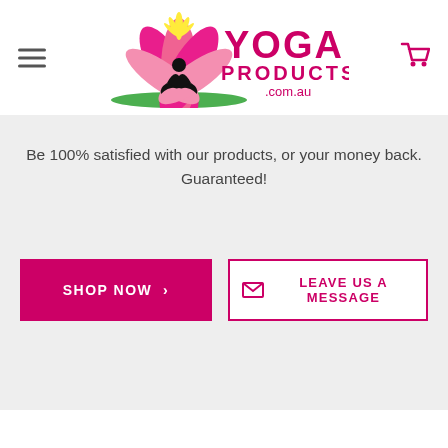[Figure (logo): Yoga Products .com.au logo with pink lotus flower and meditating silhouette, hamburger menu icon on left, shopping cart icon on right]
Be 100% satisfied with our products, or your money back. Guaranteed!
SHOP NOW >
✉ LEAVE US A MESSAGE